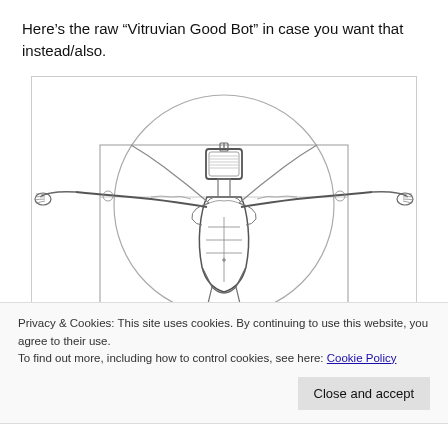Here’s the raw “Vitruvian Good Bot” in case you want that instead/also.
[Figure (illustration): A Vitruvian Man style illustration (line drawing) depicting a muscular human figure with arms outstretched in two overlapping poses (one within a square, one within a circle). The head area shows a robot/bot head instead of a human head. The drawing is in black and white line art style.]
Privacy & Cookies: This site uses cookies. By continuing to use this website, you agree to their use.
To find out more, including how to control cookies, see here: Cookie Policy
Close and accept